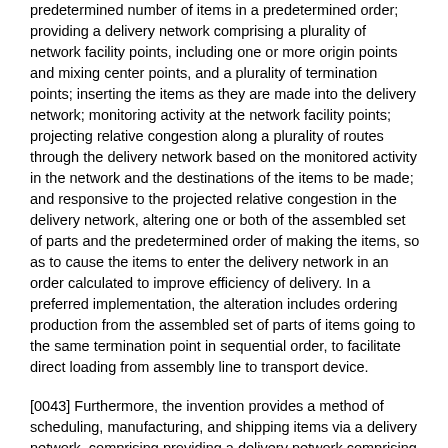predetermined number of items in a predetermined order; providing a delivery network comprising a plurality of network facility points, including one or more origin points and mixing center points, and a plurality of termination points; inserting the items as they are made into the delivery network; monitoring activity at the network facility points; projecting relative congestion along a plurality of routes through the delivery network based on the monitored activity in the network and the destinations of the items to be made; and responsive to the projected relative congestion in the delivery network, altering one or both of the assembled set of parts and the predetermined order of making the items, so as to cause the items to enter the delivery network in an order calculated to improve efficiency of delivery. In a preferred implementation, the alteration includes ordering production from the assembled set of parts of items going to the same termination point in sequential order, to facilitate direct loading from assembly line to transport device.
[0043] Furthermore, the invention provides a method of scheduling, manufacturing, and shipping items via a delivery network, comprising providing a delivery network comprising a plurality of network facility points, including one or more origin points and mixing center points, and a plurality of termination points; assembling a set of parts needed to make a predetermined number of items; ordering production from the assembled set of parts so as to manufacture items going to the same termination point in sequential order; and inserting the items as they are made into the